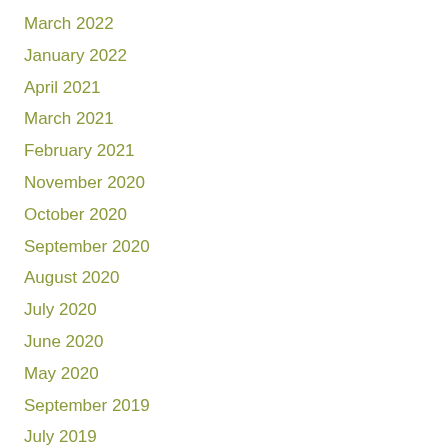March 2022
January 2022
April 2021
March 2021
February 2021
November 2020
October 2020
September 2020
August 2020
July 2020
June 2020
May 2020
September 2019
July 2019
April 2019